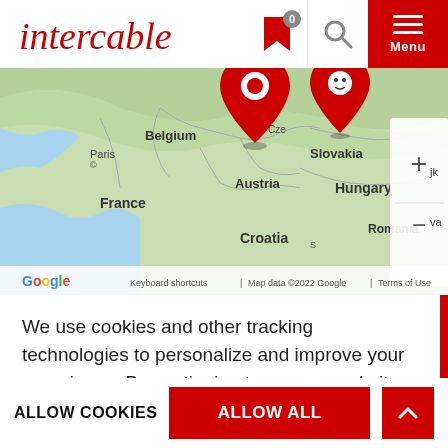[Figure (logo): Intercable logo in red script lettering]
[Figure (map): Google Maps showing Central Europe with Belgium, France, Austria, Slovakia, Hungary, Romania, Croatia visible; red location pins over Austria/Czech Republic area; zoom +/- controls on right side; Google branding and attribution at bottom]
We use cookies and other tracking technologies to personalize and improve your experience. By continuing to use our website you consent to this. More info
Necessary   Statistics   act
ALLOW COOKIES   ALLOW ALL